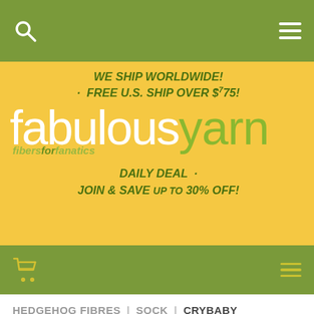Fabulous Yarn - navigation header with search and menu icons
[Figure (logo): Fabulous Yarn website banner with yellow background showing logo 'fabulousyarn fibers for fanatics', shipping info 'WE SHIP WORLDWIDE! FREE U.S. SHIP OVER $75!' and 'DAILY DEAL JOIN & SAVE UP TO 30% OFF!']
Second navigation bar with cart icon and menu
HEDGEHOG FIBRES | SOCK | CRYBABY
[Figure (photo): Close-up photo of colorful hand-dyed yarn skeins in cream, yellow-green, pink, and teal colors - Hedgehog Fibres Sock yarn in Crybaby colorway]